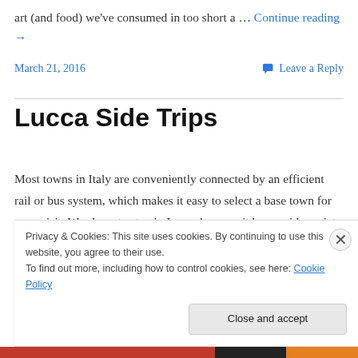art (and food) we've consumed in too short a … Continue reading →
March 21, 2016   💬 Leave a Reply
Lucca Side Trips
Most towns in Italy are conveniently connected by an efficient rail or bus system, which makes it easy to select a base town for your visit. We chose to stay in Lucca because it has a wide variety of both train and bus
Privacy & Cookies: This site uses cookies. By continuing to use this website, you agree to their use.
To find out more, including how to control cookies, see here: Cookie Policy
Close and accept